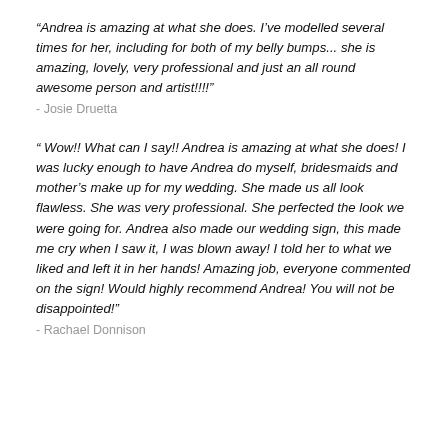“Andrea is amazing at what she does. I’ve modelled several times for her, including for both of my belly bumps... she is amazing, lovely, very professional and just an all round awesome person and artist!!!!”
- Josie Druetta
“ Wow!! What can I say!! Andrea is amazing at what she does! I was lucky enough to have Andrea do myself, bridesmaids and mother’s make up for my wedding. She made us all look flawless. She was very professional. She perfected the look we were going for. Andrea also made our wedding sign, this made me cry when I saw it, I was blown away! I told her to what we liked and left it in her hands! Amazing job, everyone commented on the sign! Would highly recommend Andrea! You will not be disappointed!”
- Rachael Donnison